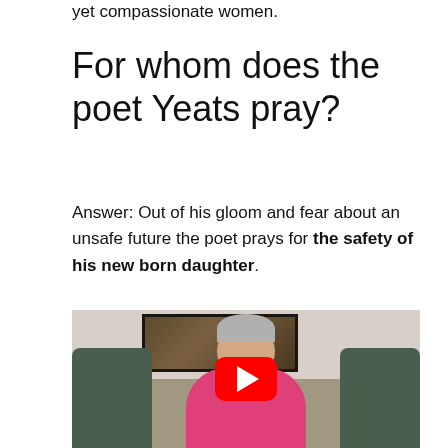yet compassionate women.
For whom does the poet Yeats pray?
Answer: Out of his gloom and fear about an unsafe future the poet prays for the safety of his new born daughter.
[Figure (photo): Video thumbnail showing a woman with short gray hair and glasses, wearing a pink shirt, sitting in a gray-green armchair. A framed picture is visible on the wall behind her. A YouTube play button overlay is shown in the center.]